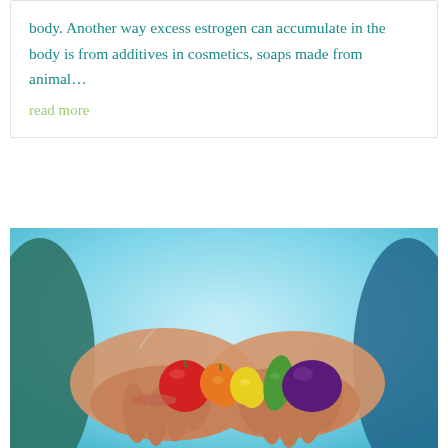body. Another way excess estrogen can accumulate in the body is from additives in cosmetics, soaps made from animal…
read more
[Figure (photo): Two hands cupped together holding a colorful assortment of small vegetables including a red tomato, orange and yellow mini peppers, green cucumber, and a purple potato/beet, with a blurred turquoise background.]